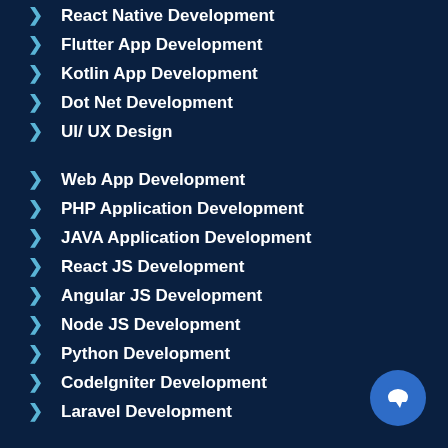React Native Development
Flutter App Development
Kotlin App Development
Dot Net Development
UI/ UX Design
Web App Development
PHP Application Development
JAVA Application Development
React JS Development
Angular JS Development
Node JS Development
Python Development
CodeIgniter Development
Laravel Development
AWS Media Live
AWS Live Class Solution
Encrypted Video Streaming
OTT Platform App